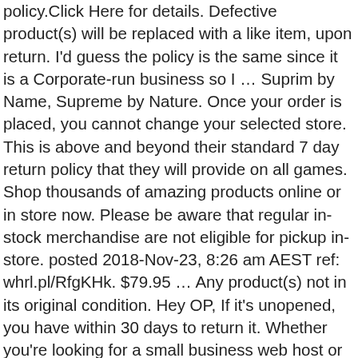policy.Click Here for details. Defective product(s) will be replaced with a like item, upon return. I'd guess the policy is the same since it is a Corporate-run business so I … Suprim by Name, Supreme by Nature. Once your order is placed, you cannot change your selected store. This is above and beyond their standard 7 day return policy that they will provide on all games. Shop thousands of amazing products online or in store now. Please be aware that regular in-stock merchandise are not eligible for pickup in-store. posted 2018-Nov-23, 8:26 am AEST ref: whrl.pl/RfgKHk. $79.95 … Any product(s) not in its original condition. Hey OP, If it's unopened, you have within 30 days to return it. Whether you're looking for a small business web host or domain name for your business—, FatCow has the service and experienced team to support you!Learn More » They gave me the PlayStation 2 version by mistake. Shop now pay later. If they are going to clawback the full $25 coupon value I may just keep the item. If you would like to cancel your pre-order, please visit the store that you directed the order to. This policy is offered at … Collection of data StudioTax is a simple application that provides you a way to deal with your